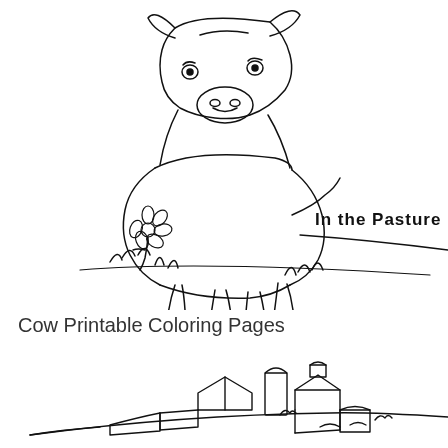[Figure (illustration): Black and white coloring page illustration of a young calf standing in a pasture with grass and a flower. Text 'In the Pasture' appears in bold to the lower right of the calf.]
Cow Printable Coloring Pages
[Figure (illustration): Black and white coloring page illustration of a farm scene with barn buildings, a silo, and a hillside landscape viewed from a distance.]